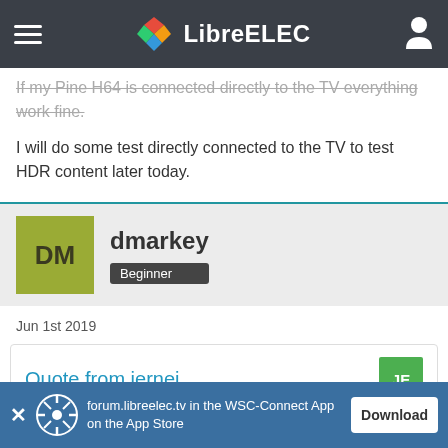LibreELEC
If my Pine H64 is connected directly to the TV everything work fine.
I will do some test directly connected to the TV to test HDR content later today.
dmarkey
Beginner
Jun 1st 2019
Quote from jernej
can you provide sample video?
forum.libreelec.tv in the WSC-Connect App on the App Store
Download